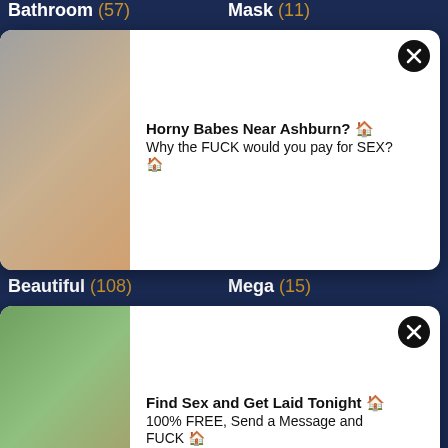Bathroom (57) | Mask (11)
Bbw (truncated)
Bo (truncated)
Be (truncated)
Be (truncated)
[Figure (screenshot): Ad popup with blonde woman photo, text: Horny Babes Near Ashburn? Why the FUCK would you pay for SEX?]
Beautiful (108) | Mega (15)
Be (truncated)
Be (truncated)
[Figure (screenshot): Ad popup with redhead woman photo, text: Find Sex and Get Laid Tonight 100% FREE, Send a Message and FUCK]
Bikini (45) | Milf (1318)
Bisexual (79) | Military (1)
Bitch (57) | Milk (26)
Bizarre (2) | Missionary (22)
Black (290) | Mistress (67)
Blackmail (9) | Mmf (24)
Blonde (846) | Mom (686)
Blow (1603) | Money (23)
Blue (30) | Monster (23)